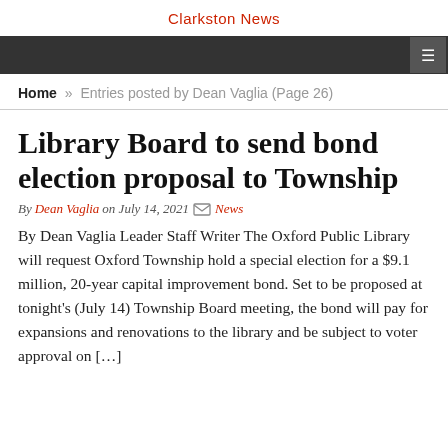Clarkston News
Home » Entries posted by Dean Vaglia (Page 26)
Library Board to send bond election proposal to Township
By Dean Vaglia on July 14, 2021  News
By Dean Vaglia Leader Staff Writer The Oxford Public Library will request Oxford Township hold a special election for a $9.1 million, 20-year capital improvement bond. Set to be proposed at tonight's (July 14) Township Board meeting, the bond will pay for expansions and renovations to the library and be subject to voter approval on […]